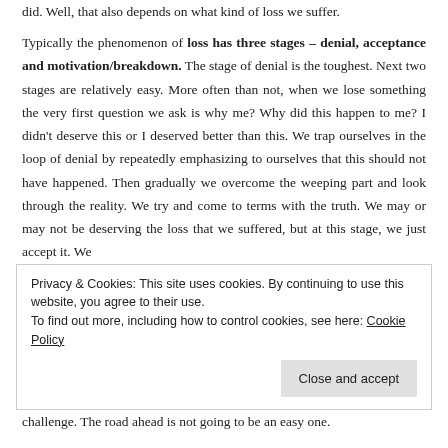did. Well, that also depends on what kind of loss we suffer.
Typically the phenomenon of loss has three stages – denial, acceptance and motivation/breakdown. The stage of denial is the toughest. Next two stages are relatively easy. More often than not, when we lose something the very first question we ask is why me? Why did this happen to me? I didn't deserve this or I deserved better than this. We trap ourselves in the loop of denial by repeatedly emphasizing to ourselves that this should not have happened. Then gradually we overcome the weeping part and look through the reality. We try and come to terms with the truth. We may or may not be deserving the loss that we suffered, but at this stage, we just accept it. We
Privacy & Cookies: This site uses cookies. By continuing to use this website, you agree to their use.
To find out more, including how to control cookies, see here: Cookie Policy
challenge. The road ahead is not going to be an easy one.